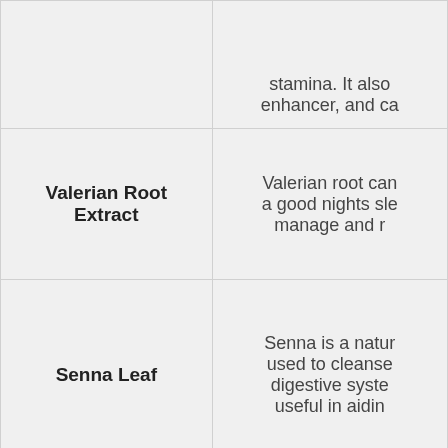| Ingredient | Description |
| --- | --- |
|  | stamina. It also enhancer, and ca |
| Valerian Root Extract | Valerian root can a good nights sle manage and r |
| Senna Leaf | Senna is a natur used to cleanse digestive syste useful in aidin |
| Hawthorn Berry | Hawthorn ber body's circulato to help manage |